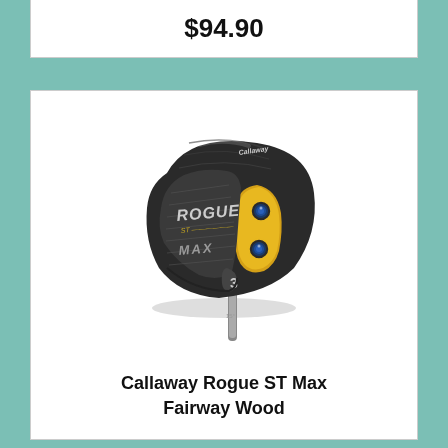$94.90
[Figure (photo): Callaway Rogue ST Max Fairway Wood golf club head, dark metallic finish with gold/yellow accent panel and blue circular screws, showing club face and sole with number 3 and 15° loft marking]
Callaway Rogue ST Max Fairway Wood